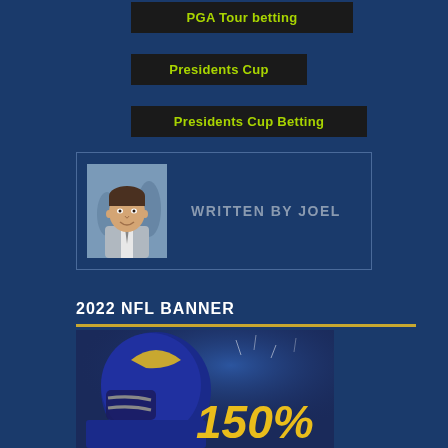PGA Tour betting
Presidents Cup
Presidents Cup Betting
WRITTEN BY JOEL
2022 NFL BANNER
[Figure (photo): NFL promotional banner showing a Rams player with helmet, with '150%' text overlay in gold on a blue background]